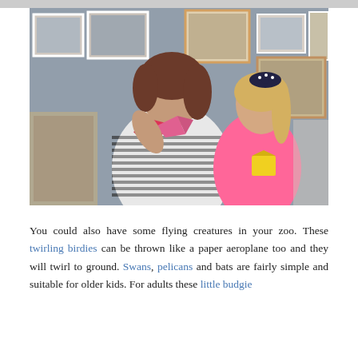[Figure (photo): A woman in a striped shirt and a young girl in a pink shirt sit together holding colorful origami paper birds/animals. The woman holds a red and pink origami shape while the girl holds a yellow origami figure. They are indoors with framed pictures on a grey wall in the background.]
You could also have some flying creatures in your zoo. These twirling birdies can be thrown like a paper aeroplane too and they will twirl to ground. Swans, pelicans and bats are fairly simple and suitable for older kids. For adults these little budgie